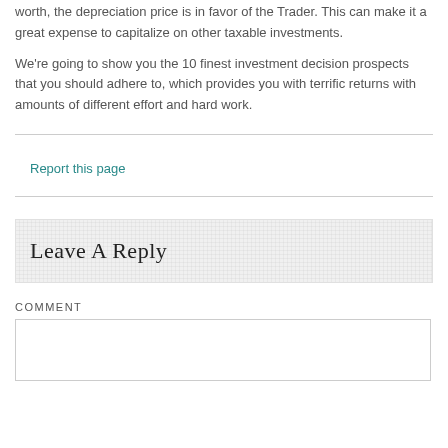worth, the depreciation price is in favor of the Trader. This can make it a great expense to capitalize on other taxable investments.
We're going to show you the 10 finest investment decision prospects that you should adhere to, which provides you with terrific returns with amounts of different effort and hard work.
Report this page
Leave A Reply
COMMENT